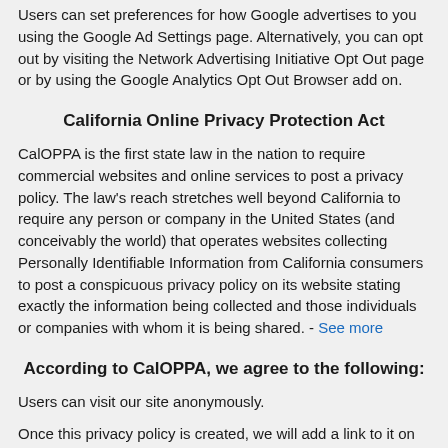Users can set preferences for how Google advertises to you using the Google Ad Settings page. Alternatively, you can opt out by visiting the Network Advertising Initiative Opt Out page or by using the Google Analytics Opt Out Browser add on.
California Online Privacy Protection Act
CalOPPA is the first state law in the nation to require commercial websites and online services to post a privacy policy. The law's reach stretches well beyond California to require any person or company in the United States (and conceivably the world) that operates websites collecting Personally Identifiable Information from California consumers to post a conspicuous privacy policy on its website stating exactly the information being collected and those individuals or companies with whom it is being shared. - See more
According to CalOPPA, we agree to the following:
Users can visit our site anonymously.
Once this privacy policy is created, we will add a link to it on our